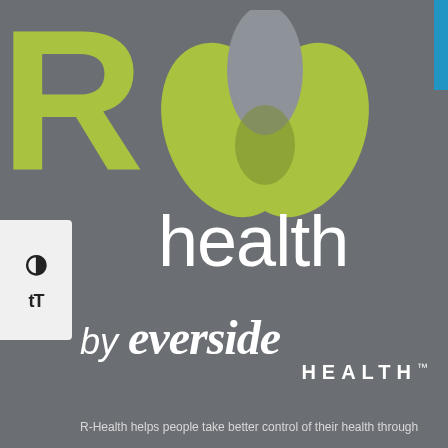[Figure (logo): R-Health by Everside Health logo. Large yellow-green letter R on the left, a three-petal leaf cluster graphic (two yellow-green petals and one gray petal overlapping) to the right of R, with the word 'health' in white below the graphic, and 'by everside HEALTH™' below that on a dark gray background.]
R-Health helps people take better control of their health through